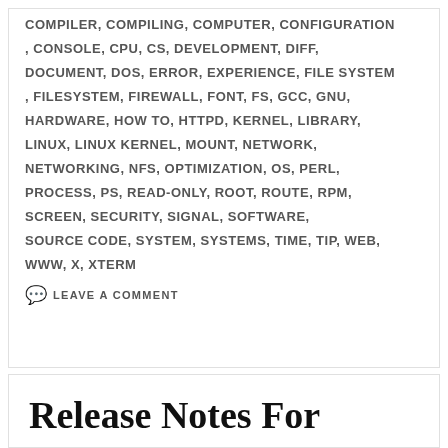COMPILER, COMPILING, COMPUTER, CONFIGURATION, CONSOLE, CPU, CS, DEVELOPMENT, DIFF, DOCUMENT, DOS, ERROR, EXPERIENCE, FILE SYSTEM, FILESYSTEM, FIREWALL, FONT, FS, GCC, GNU, HARDWARE, HOW TO, HTTPD, KERNEL, LIBRARY, LINUX, LINUX KERNEL, MOUNT, NETWORK, NETWORKING, NFS, OPTIMIZATION, OS, PERL, PROCESS, PS, READ-ONLY, ROOT, ROUTE, RPM, SCREEN, SECURITY, SIGNAL, SOFTWARE, SOURCE CODE, SYSTEM, SYSTEMS, TIME, TIP, WEB, WWW, X, XTERM
LEAVE A COMMENT
Release Notes For